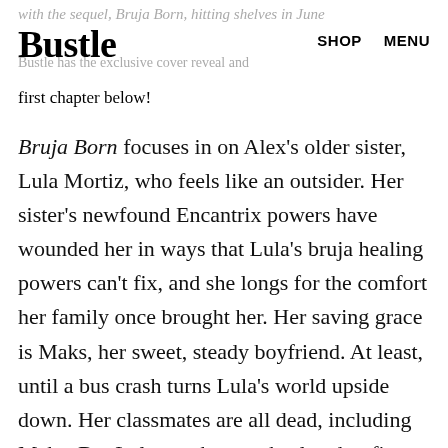with the sequel, Bruja Born, hitting shelves in June
Bustle
SHOP   MENU
Bustle has the exclusive cover reveal and first chapter below!
Bruja Born focuses in on Alex's older sister, Lula Mortiz, who feels like an outsider. Her sister's newfound Encantrix powers have wounded her in ways that Lula's bruja healing powers can't fix, and she longs for the comfort her family once brought her. Her saving grace is Maks, her sweet, steady boyfriend. At least, until a bus crash turns Lula's world upside down. Her classmates are all dead, including Maks. But Lula was born to heal and to fix, and she knows she can bring Maks back, even if it means seeking help from her sisters and defying